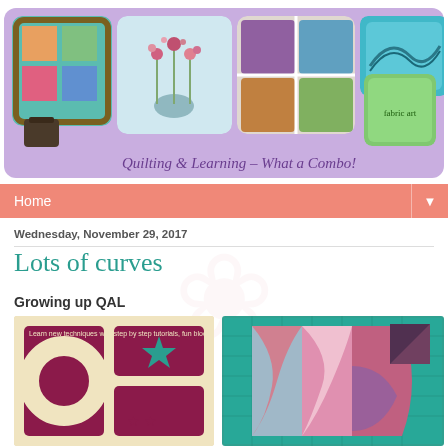[Figure (photo): Blog header banner with quilting photos and title 'Quilting & Learning – What a Combo!' on a lavender background]
Home
Wednesday, November 29, 2017
Lots of curves
Growing up QAL
[Figure (photo): Quilting block image with magenta/cream design featuring QAL text and stars]
[Figure (photo): Quilting block with curved pink and purple fabric pieces on teal cutting mat]